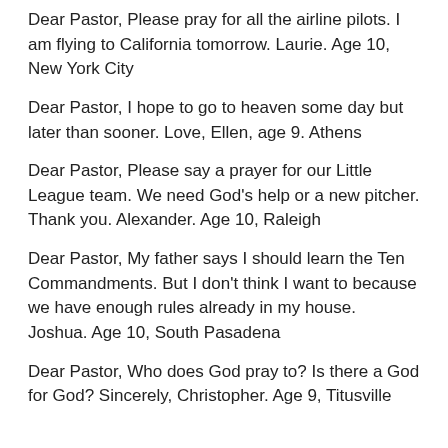Dear Pastor, Please pray for all the airline pilots. I am flying to California tomorrow. Laurie. Age 10, New York City
Dear Pastor, I hope to go to heaven some day but later than sooner. Love, Ellen, age 9. Athens
Dear Pastor, Please say a prayer for our Little League team. We need God's help or a new pitcher. Thank you. Alexander. Age 10, Raleigh
Dear Pastor, My father says I should learn the Ten Commandments. But I don't think I want to because we have enough rules already in my house. Joshua. Age 10, South Pasadena
Dear Pastor, Who does God pray to? Is there a God for God? Sincerely, Christopher. Age 9, Titusville